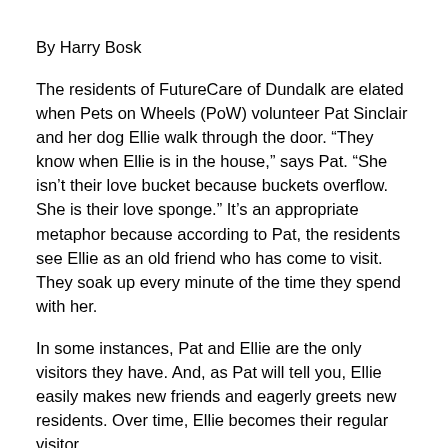By Harry Bosk
The residents of FutureCare of Dundalk are elated when Pets on Wheels (PoW) volunteer Pat Sinclair and her dog Ellie walk through the door. “They know when Ellie is in the house,” says Pat. “She isn’t their love bucket because buckets overflow. She is their love sponge.” It’s an appropriate metaphor because according to Pat, the residents see Ellie as an old friend who has come to visit. They soak up every minute of the time they spend with her.
In some instances, Pat and Ellie are the only visitors they have. And, as Pat will tell you, Ellie easily makes new friends and eagerly greets new residents. Over time, Ellie becomes their regular visitor.
Pat and Ellie visit on Tuesdays and Fridays. And the residents know when they’re coming: “When I miss a day the residents aren’t shy about asking me why,” Pat says. “They huddle Ellie close to keep on seeing me?” Then they look at